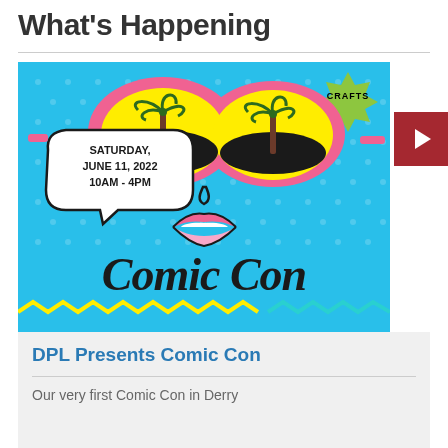What's Happening
[Figure (illustration): Comic Con event poster with cyan background showing a stylized woman's face wearing large pink sunglasses with yellow lenses and palm tree reflections. A speech bubble reads 'SATURDAY, JUNE 11, 2022 10AM - 4PM'. A green starburst badge in the top right reads 'CRAFTS'. The bottom of the image shows 'Comic Con' in large cursive black lettering. Bottom edge has yellow and teal decorative zigzag elements.]
DPL Presents Comic Con
Our very first Comic Con in Derry